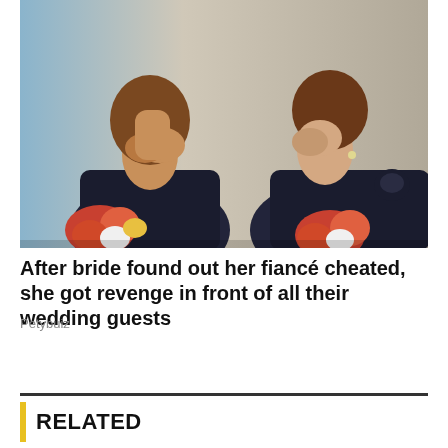[Figure (photo): Two bridesmaids in dark navy dresses holding colorful flower bouquets, both covering their mouths/faces with their hands in a shocked or emotional expression]
After bride found out her fiancé cheated, she got revenge in front of all their wedding guests
Petybuiz
RELATED